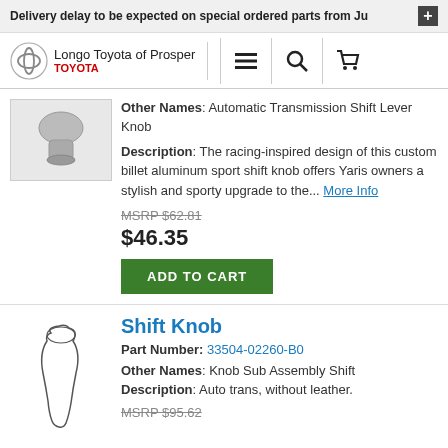Delivery delay to be expected on special ordered parts from Ju
[Figure (logo): Toyota logo and Longo Toyota of Prosper navigation bar with hamburger menu, search, and cart icons]
Other Names: Automatic Transmission Shift Lever Knob
Description: The racing-inspired design of this custom billet aluminum sport shift knob offers Yaris owners a stylish and sporty upgrade to the... More Info
MSRP $62.81
$46.35
ADD TO CART
Shift Knob
Part Number: 33504-02260-B0
Other Names: Knob Sub Assembly Shift
Description: Auto trans, without leather.
MSRP $95.62